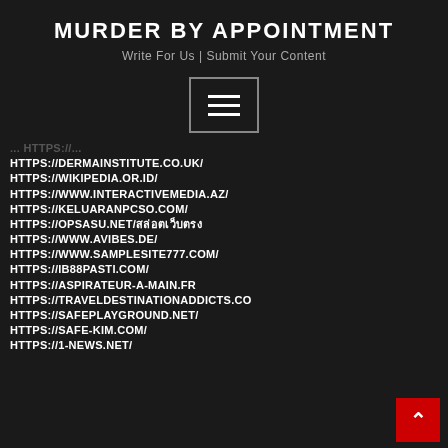MURDER BY APPOINTMENT
Write For Us | Submit Your Content
[Figure (other): Hamburger menu button (three horizontal lines in a bordered rectangle)]
https://dermainstitute.co.uk/
https://wikipedia.or.id/
https://www.interactivemedia.az/
https://keluaranpcso.com/
https://opsasu.net/สล่อตเว็บตรง
https://www.avibes.de/
https://www.samplesite777.com/
https://ib88pasti.com/
https://aspirateur-a-main.fr
https://traveldestinationaddicts.co...
https://safeplayground.net/
https://safe-kim.com/
https://1-news.net/